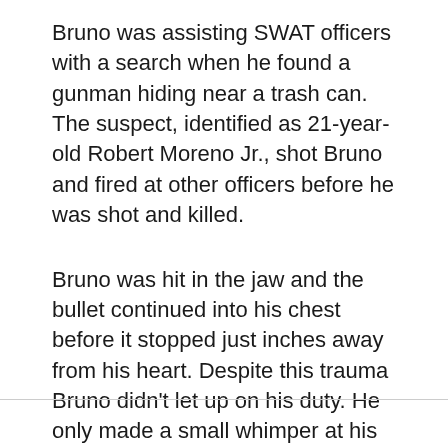Bruno was assisting SWAT officers with a search when he found a gunman hiding near a trash can. The suspect, identified as 21-year-old Robert Moreno Jr., shot Bruno and fired at other officers before he was shot and killed.
Bruno was hit in the jaw and the bullet continued into his chest before it stopped just inches away from his heart. Despite this trauma Bruno didn't let up on his duty. He only made a small whimper at his handler and then wanted to get right back to work.